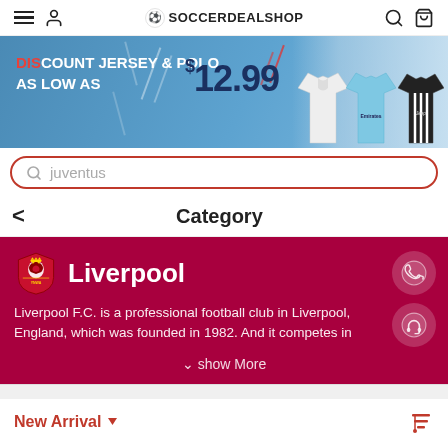SOCCERDEALSHOP
[Figure (infographic): Promotional banner: DISCOUNT JERSEY & POLO AS LOW AS $12.99 with soccer jersey images]
juventus (search bar placeholder)
Category
Liverpool
Liverpool F.C. is a professional football club in Liverpool, England, which was founded in 1982. And it competes in
show More
New Arrival